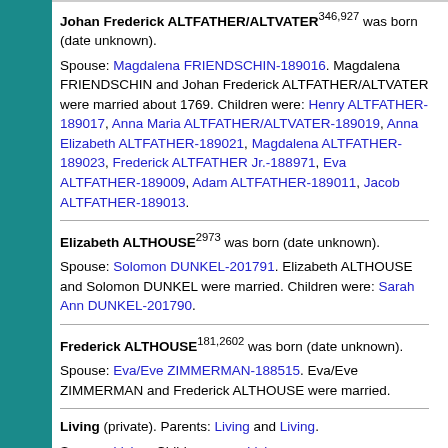Johan Frederick ALTFATHER/ALTVATER^346,927 was born (date unknown). Spouse: Magdalena FRIENDSCHIN-189016. Magdalena FRIENDSCHIN and Johan Frederick ALTFATHER/ALTVATER were married about 1769. Children were: Henry ALTFATHER-189017, Anna Maria ALTFATHER/ALTVATER-189019, Anna Elizabeth ALTFATHER-189021, Magdalena ALTFATHER-189023, Frederick ALTFATHER Jr.-188971, Eva ALTFATHER-189009, Adam ALTFATHER-189011, Jacob ALTFATHER-189013.
Elizabeth ALTHOUSE^2973 was born (date unknown). Spouse: Solomon DUNKEL-201791. Elizabeth ALTHOUSE and Solomon DUNKEL were married. Children were: Sarah Ann DUNKEL-201790.
Frederick ALTHOUSE^181,2602 was born (date unknown). Spouse: Eva/Eve ZIMMERMAN-188515. Eva/Eve ZIMMERMAN and Frederick ALTHOUSE were married.
Living (private). Parents: Living and Living. Spouse: Living. Children were: Living. Spouse: Living. Children were: Living, Living.